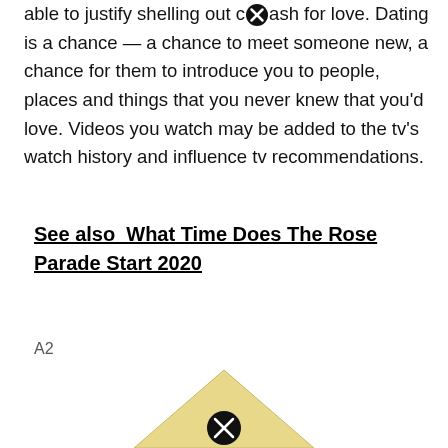able to justify shelling out cash for love. Dating is a chance — a chance to meet someone new, a chance for them to introduce you to people, places and things that you never knew that you'd love. Videos you watch may be added to the tv's watch history and influence tv recommendations.
See also  What Time Does The Rose Parade Start 2020
A2
[Figure (illustration): Bottom portion of a triangular gold/yellow shape with a circular close/cancel icon overlaid on it]